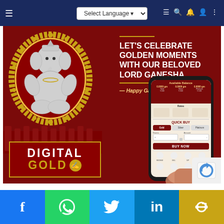Select Language ▼ — Powered by Google Translate
[Figure (illustration): Ganesh Chaturthi Digital Gold promotional banner. Red background with a silver Ganesha idol in a golden oval frame on the left, surrounded by gold floral decorations. Right side has text: LET'S CELEBRATE GOLDEN MOMENTS WITH OUR BELOVED LORD GANESHA — Happy Ganesh Chaturthi —. A smartphone showing a Digital Gold app with Quick Buy interface (Gold, Silver, Platinum tabs, Grams/Amount inputs, BUY NOW button) is held by a hand. Bottom left has DIGITAL GOLD text box with gold and white styling. A reCAPTCHA badge is visible bottom right.]
f  [WhatsApp]  [Twitter]  in  [Link]